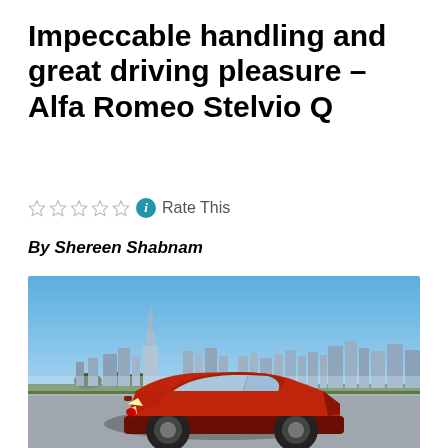Impeccable handling and great driving pleasure – Alfa Romeo Stelvio Q
☆☆☆☆☆ ⓘ Rate This
By Shereen Shabnam
[Figure (photo): Red Alfa Romeo Stelvio SUV parked on a road with the Dubai skyline (including the Burj Khalifa) visible in the background under a clear blue sky.]